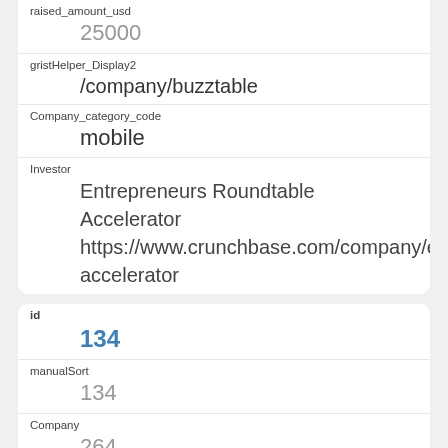raised_amount_usd
25000
gristHelper_Display2
/company/buzztable
Company_category_code
mobile
Investor
Entrepreneurs Roundtable Accelerator
https://www.crunchbase.com/company/er-accelerator
id
134
manualSort
134
Company
264
investor_permalink
/company/er-accelerator
investor_name
Entrepreneurs Roundtable Accelerator